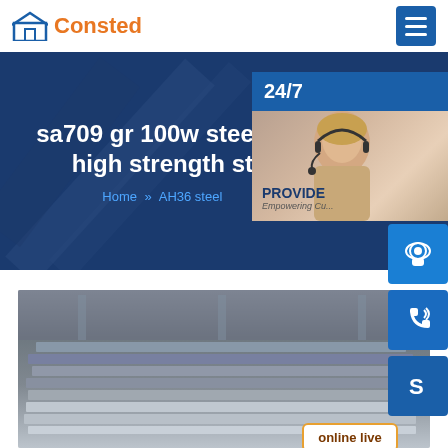[Figure (logo): Consted logo with house icon in blue/orange]
[Figure (infographic): Hero banner with dark blue background, title text about sa709 gr 100w steel high strength st, and breadcrumb navigation Home >> AH36 steel]
sa709 gr 100w steel lo high strength st
Home » AH36 steel
[Figure (infographic): Support widget with 24/7 label, woman with headset photo, PROVIDE Empowering Cu text, and icon buttons for support, phone, Skype, plus online live button]
[Figure (photo): Steel plates stacked in an industrial warehouse]